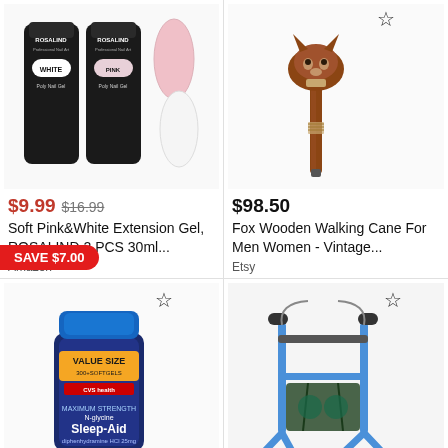[Figure (photo): Two black ROSALIND Poly Nail Gel tubes (White and Pink) with nail swatches, with a red SAVE $7.00 badge]
$9.99  $16.99
Soft Pink&White Extension Gel, ROSALIND 2 PCS 30ml...
Amazon
[Figure (photo): Fox-headed wooden walking cane with ornate carved handle, brown wood]
$98.50
Fox Wooden Walking Cane For Men Women - Vintage...
Etsy
[Figure (photo): Blue bottle of CVS Health Maximum Strength Sleep-Aid diphenhydramine HCI, VALUE SIZE]
[Figure (photo): Blue and black walker/rollator with seat and bags]